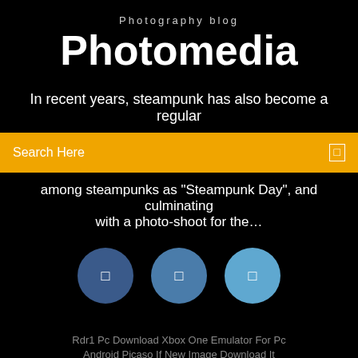Photography blog
Photomedia
In recent years, steampunk has also become a regular
Search Here
among steampunks as "Steampunk Day", and culminating with a photo-shoot for the…
[Figure (illustration): Three circular social media icon buttons in shades of blue]
Rdr1 Pc Download Xbox One Emulator For Pc Android Picaso If New Image Download It Python Download Link To File